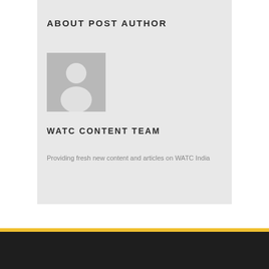ABOUT POST AUTHOR
[Figure (illustration): Gray placeholder avatar image showing a generic person silhouette (head circle and body/shoulder shape) in white on a gray background]
WATC CONTENT TEAM
Providing fresh new content and articles on WATC India